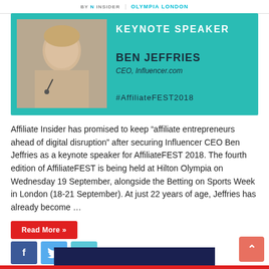by INSIDER | OLYMPIA LONDON
[Figure (infographic): Teal/green keynote speaker promotional banner showing a photo of Ben Jeffries on the left and text on the right reading: KEYNOTE SPEAKER, BEN JEFFRIES, CEO, Influencer.com, #AffiliateFEST2018]
Affiliate Insider has promised to keep “affiliate entrepreneurs ahead of digital disruption” after securing Influencer CEO Ben Jeffries as a keynote speaker for AffiliateFEST 2018. The fourth edition of AffiliateFEST is being held at Hilton Olympia on Wednesday 19 September, alongside the Betting on Sports Week in London (18-21 September). At just 22 years of age, Jeffries has already become …
Read More »
[Figure (other): Social media share buttons: Facebook (blue), Twitter (light blue), LinkedIn (teal)]